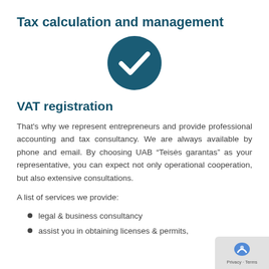Tax calculation and management
[Figure (illustration): Dark teal circle with a white checkmark icon in the center]
VAT registration
That's why we represent entrepreneurs and provide professional accounting and tax consultancy. We are always available by phone and email. By choosing UAB “Teisės garantas” as your representative, you can expect not only operational cooperation, but also extensive consultations.
A list of services we provide:
legal & business consultancy
assist you in obtaining licenses & permits,